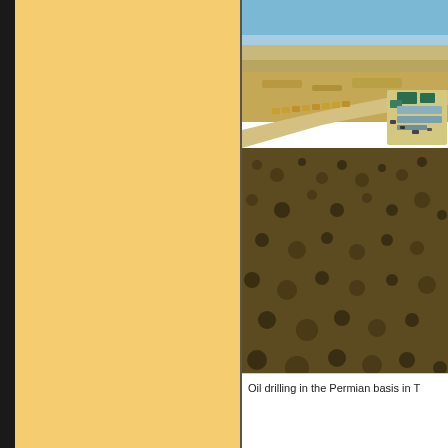[Figure (photo): Aerial photograph of oil drilling site in the Permian Basin. Shows arid desert landscape with scrubland, a gravel access road, and industrial equipment/trailers at a drilling pad. Blue sky visible at top. Getty Images watermark.]
Oil drilling in the Permian basis in T...